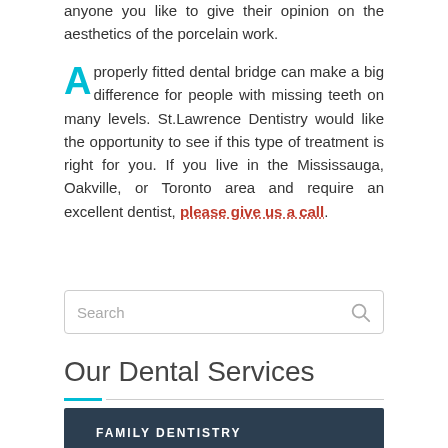anyone you like to give their opinion on the aesthetics of the porcelain work.
A properly fitted dental bridge can make a big difference for people with missing teeth on many levels. St.Lawrence Dentistry would like the opportunity to see if this type of treatment is right for you. If you live in the Mississauga, Oakville, or Toronto area and require an excellent dentist, please give us a call.
[Figure (other): Search input box with magnifying glass icon]
Our Dental Services
FAMILY DENTISTRY